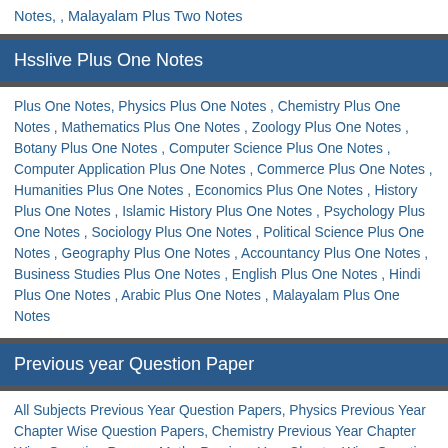Notes, , Malayalam Plus Two Notes
Hsslive Plus One Notes
Plus One Notes, Physics Plus One Notes , Chemistry Plus One Notes , Mathematics Plus One Notes , Zoology Plus One Notes , Botany Plus One Notes , Computer Science Plus One Notes , Computer Application Plus One Notes , Commerce Plus One Notes , Humanities Plus One Notes , Economics Plus One Notes , History Plus One Notes , Islamic History Plus One Notes , Psychology Plus One Notes , Sociology Plus One Notes , Political Science Plus One Notes , Geography Plus One Notes , Accountancy Plus One Notes , Business Studies Plus One Notes , English Plus One Notes , Hindi Plus One Notes , Arabic Plus One Notes , Malayalam Plus One Notes
Previous year Question Paper
All Subjects Previous Year Question Papers, Physics Previous Year Chapter Wise Question Papers, Chemistry Previous Year Chapter Wise Question Papers, Maths Previous Year Chapter Wise Question Papers, Zoology Previous Year Chapter Wise Question Papers , Botany Previous Year Chapter Wise Question Papers, Computer Science Previous Year Chapter Wise Question Papers, Computer